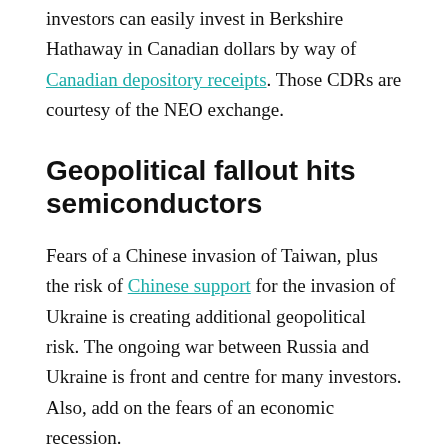investors can easily invest in Berkshire Hathaway in Canadian dollars by way of Canadian depository receipts. Those CDRs are courtesy of the NEO exchange.
Geopolitical fallout hits semiconductors
Fears of a Chinese invasion of Taiwan, plus the risk of Chinese support for the invasion of Ukraine is creating additional geopolitical risk. The ongoing war between Russia and Ukraine is front and centre for many investors. Also, add on the fears of an economic recession.
For my March 6 column, I detailed how the invasion of Ukraine is fueling inflation. It is